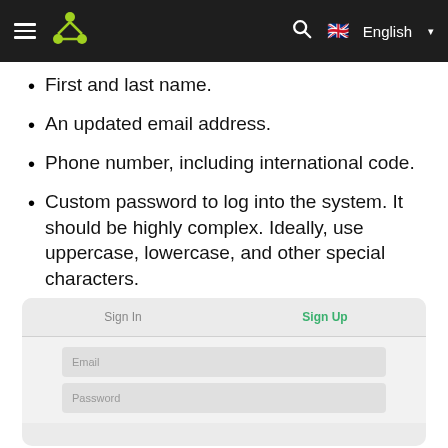Navigation bar with hamburger menu, logo, search icon, and English language selector
First and last name.
An updated email address.
Phone number, including international code.
Custom password to log into the system. It should be highly complex. Ideally, use uppercase, lowercase, and other special characters.
[Figure (screenshot): Sign In / Sign Up tab panel with Email and Password input fields, Sign Up tab active in green]